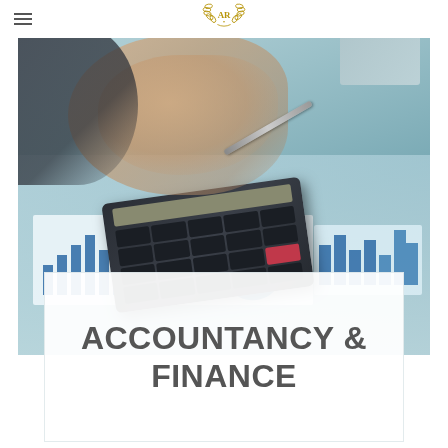[Figure (logo): Circular laurel wreath logo with initials AR in the center, gold color]
[Figure (photo): Close-up of a businessman's hand using a calculator on a desk with financial charts showing bar charts and pie charts in blue, printed on paper]
ACCOUNTANCY & FINANCE